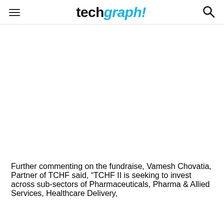techgraph!
Further commenting on the fundraise, Vamesh Chovatia, Partner of TCHF said, “TCHF II is seeking to invest across sub-sectors of Pharmaceuticals, Pharma & Allied Services, Healthcare Delivery,